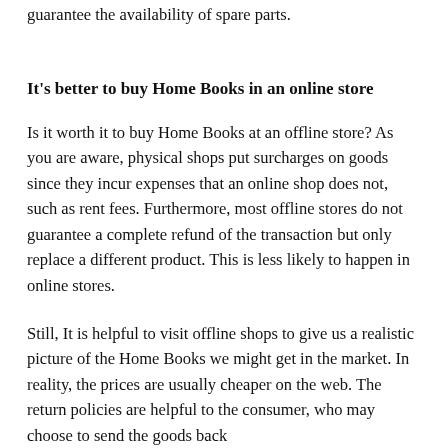guarantee the availability of spare parts.
It’s better to buy Home Books in an online store
Is it worth it to buy Home Books at an offline store? As you are aware, physical shops put surcharges on goods since they incur expenses that an online shop does not, such as rent fees. Furthermore, most offline stores do not guarantee a complete refund of the transaction but only replace a different product. This is less likely to happen in online stores.
Still, It is helpful to visit offline shops to give us a realistic picture of the Home Books we might get in the market. In reality, the prices are usually cheaper on the web. The return policies are helpful to the consumer, who may choose to send the goods back